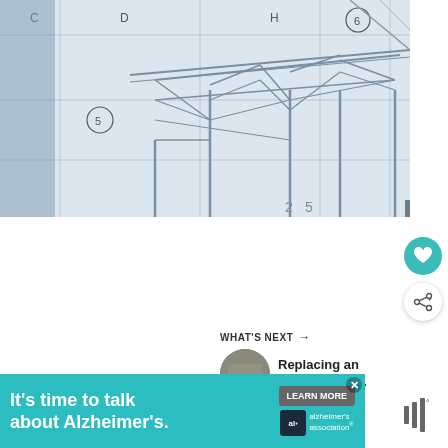[Figure (engineering-diagram): Engineering blueprint / schematic drawing showing a structural frame or pergola structure with truss details, viewed at an angle on drafting paper. Grid lines with letters C, D, H and numbers 5, 6 visible as reference markers.]
[Figure (other): Teal heart/favorite button (circular teal button with white heart icon)]
[Figure (other): White circular share button with share icon]
WHAT'S NEXT →
Replacing an Old Deck wit...
[Figure (photo): Small circular thumbnail photo of a deck]
[Figure (other): Advertisement banner: It's time to talk about Alzheimer's. LEARN MORE. Alzheimer's association logo. Close X button.]
[Figure (other): Mute/speaker icon (three vertical bars with degree symbol) on the right side]